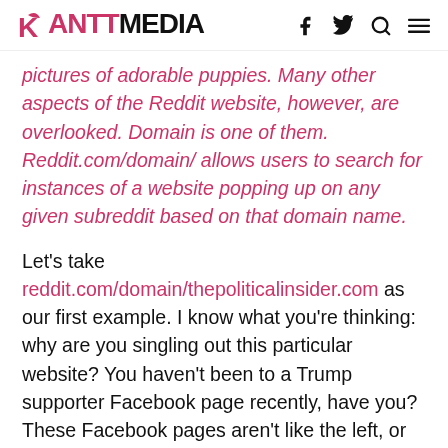RANTT MEDIA [logo with social/nav icons]
pictures of adorable puppies. Many other aspects of the Reddit website, however, are overlooked. Domain is one of them. Reddit.com/domain/ allows users to search for instances of a website popping up on any given subreddit based on that domain name.
Let's take reddit.com/domain/thepoliticalinsider.com as our first example. I know what you're thinking: why are you singling out this particular website? You haven't been to a Trump supporter Facebook page recently, have you? These Facebook pages aren't like the left, or liberal, pages you often see. These followers speak openly in the comment sections about, not only their distrust, but their rampant hatred of websites like CNN, MSNBC, ABC, CBS, and alike (the same ones...